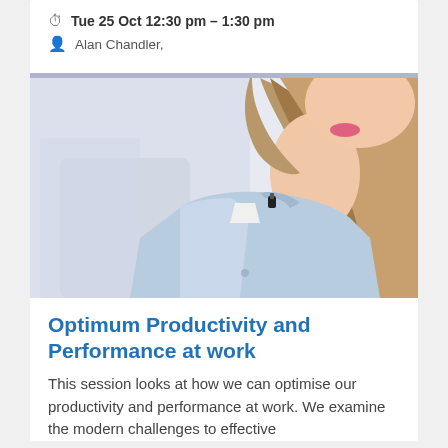Tue 25 Oct 12:30 pm – 1:30 pm
Alan Chandler,
[Figure (photo): Woman with long brown hair wearing a light blue shirt and white top, with a small microphone clip on her collar, cropped close-up view]
Optimum Productivity and Performance at work
This session looks at how we can optimise our productivity and performance at work. We examine the modern challenges to effective...